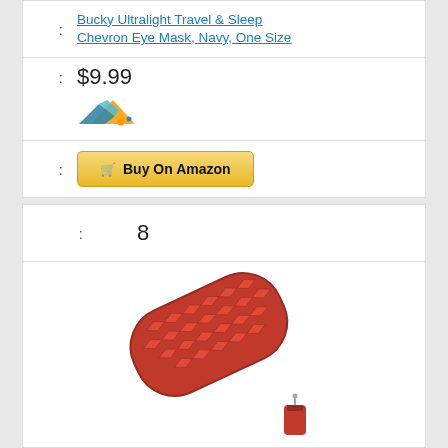: Bucky Ultralight Travel & Sleep Chevron Eye Mask, Navy, One Size
: $9.99
[Figure (logo): Amazon logo partial]
: Buy On Amazon
: 8
[Figure (photo): Red inflatable sleeping/camping pad with textured diamond pattern surface, shown with its small red stuff sack]